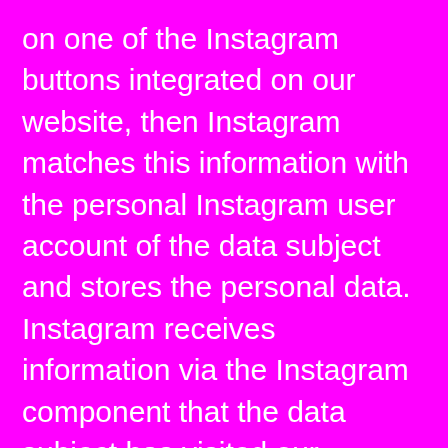on one of the Instagram buttons integrated on our website, then Instagram matches this information with the personal Instagram user account of the data subject and stores the personal data. Instagram receives information via the Instagram component that the data subject has visited our website provided that the data subject is logged in at Instagram at the time of the call to our website. This occurs regardless of whether the person clicks on the Instagram button or not. If such a transmission of information to Instagram is not desirable for the data subject, then he or she can